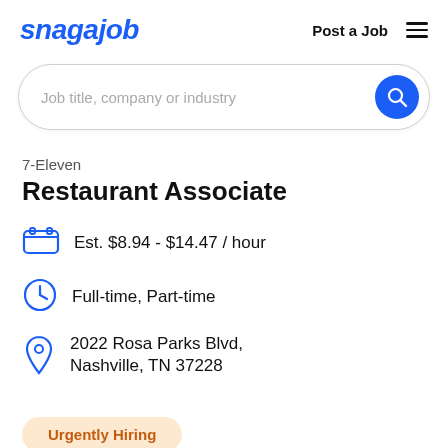snagajob | Post a Job
[Figure (other): Search bar with placeholder text 'Job title, company or industry' and a blue circular search button]
7-Eleven
Restaurant Associate
Est. $8.94 - $14.47 / hour
Full-time, Part-time
2022 Rosa Parks Blvd, Nashville, TN 37228
Urgently Hiring